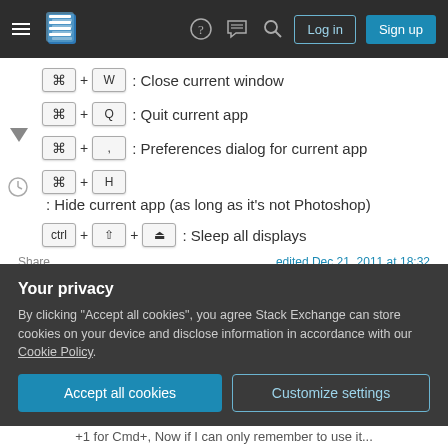Stack Exchange navigation bar with Log in and Sign up buttons
⌘ + W : Close current window
⌘ + Q : Quit current app
⌘ + , : Preferences dialog for current app
⌘ + H : Hide current app (as long as it's not Photoshop)
ctrl + ⇧ + ⏏ : Sleep all displays
Share | edited Dec 21, 2011 at 18:32
Your privacy
By clicking "Accept all cookies", you agree Stack Exchange can store cookies on your device and disclose information in accordance with our Cookie Policy.
+1 for Cmd+, Now if I can only remember to use it...